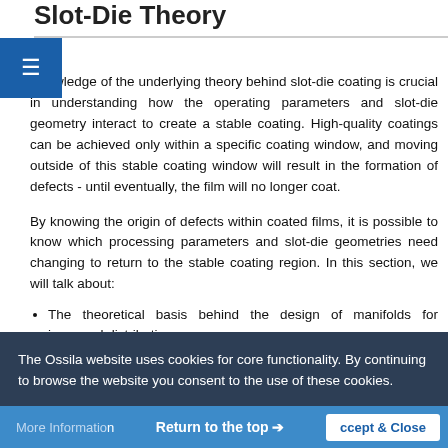Slot-Die Theory
Knowledge of the underlying theory behind slot-die coating is crucial in understanding how the operating parameters and slot-die geometry interact to create a stable coating. High-quality coatings can be achieved only within a specific coating window, and moving outside of this stable coating window will result in the formation of defects - until eventually, the film will no longer coat.
By knowing the origin of defects within coated films, it is possible to know which processing parameters and slot-die geometries need changing to return to the stable coating region. In this section, we will talk about:
The theoretical basis behind the design of manifolds for improved distribution
How the solution flows through restricted channels producing a pressure gradient
The Ossila website uses cookies for core functionality. By continuing to browse the website you consent to the use of these cookies.
More Information   Return to the top ⊕   Accept & Close